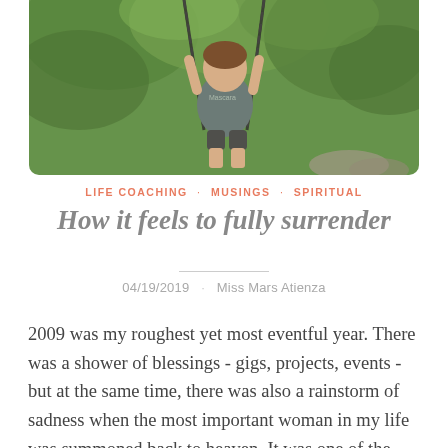[Figure (photo): A person sitting on a swing outdoors, wearing a gray t-shirt with 'Mascara' text, surrounded by green foliage and trees.]
LIFE COACHING · MUSINGS · SPIRITUAL
How it feels to fully surrender
04/19/2019 · Miss Mars Atienza
2009 was my roughest yet most eventful year. There was a shower of blessings - gigs, projects, events - but at the same time, there was also a rainstorm of sadness when the most important woman in my life was summoned back to heaven. It was one of the most devastating